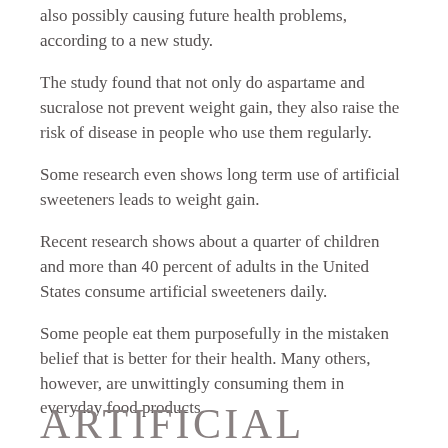also possibly causing future health problems, according to a new study.
The study found that not only do aspartame and sucralose not prevent weight gain, they also raise the risk of disease in people who use them regularly.
Some research even shows long term use of artificial sweeteners leads to weight gain.
Recent research shows about a quarter of children and more than 40 percent of adults in the United States consume artificial sweeteners daily.
Some people eat them purposefully in the mistaken belief that is better for their health. Many others, however, are unwittingly consuming them in everyday food products.
ARTIFICIAL